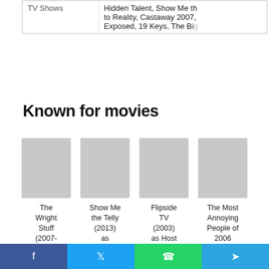| Category | Details |
| --- | --- |
| TV Shows | Hidden Talent, Show Me the to Reality, Castaway 2007, Exposed, 19 Keys, The Big... |
Known for movies
The Wright Stuff (2007-2009)
Show Me the Telly (2013) as Himself
Flipside TV (2003) as Host
The Most Annoying People of 2006 (2006)